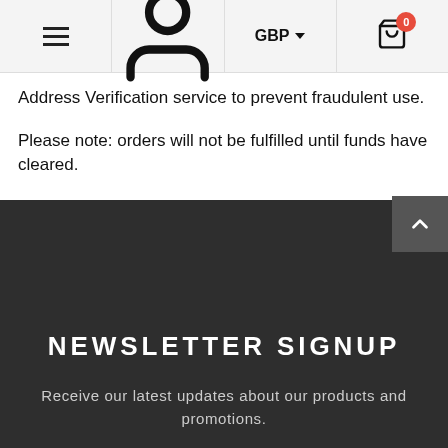☰  👤  GBP  🛒 0
Address Verification service to prevent fraudulent use.
Please note: orders will not be fulfilled until funds have cleared.
If you have any questions, please Contact Us.
Thank you
NEWSLETTER SIGNUP
Receive our latest updates about our products and promotions.